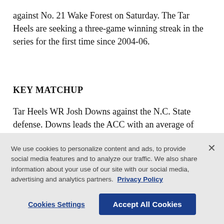against No. 21 Wake Forest on Saturday. The Tar Heels are seeking a three-game winning streak in the series for the first time since 2004-06.
KEY MATCHUP
Tar Heels WR Josh Downs against the N.C. State defense. Downs leads the ACC with an average of more than eight catches, is second with an average of almost 109 receiving yards and has caught eight touchdown passes. For the Wolfpack defense to remain stingy, they'll have to hold Downs in check
We use cookies to personalize content and ads, to provide social media features and to analyze our traffic. We also share information about your use of our site with our social media, advertising and analytics partners. Privacy Policy
Cookies Settings
Accept All Cookies